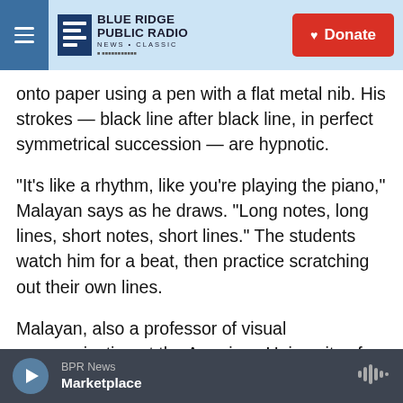Blue Ridge Public Radio — News + Classic | Donate
onto paper using a pen with a flat metal nib. His strokes — black line after black line, in perfect symmetrical succession — are hypnotic.
"It's like a rhythm, like you're playing the piano," Malayan says as he draws. "Long notes, long lines, short notes, short lines." The students watch him for a beat, then practice scratching out their own lines.
Malayan, also a professor of visual communication at the American University of Armenia, is the author of The Art of Armenian Calligraphy. He is
BPR News — Marketplace